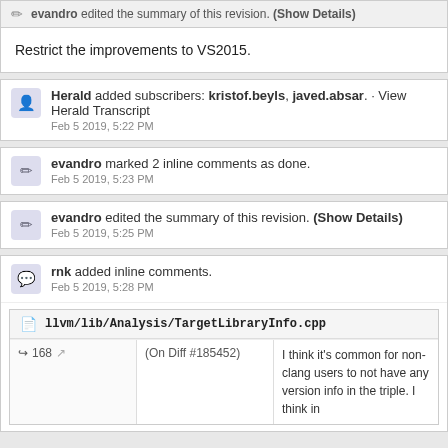evandro edited the summary of this revision. (Show Details)
Restrict the improvements to VS2015.
Herald added subscribers: kristof.beyls, javed.absar. · View Herald Transcript
Feb 5 2019, 5:22 PM
evandro marked 2 inline comments as done.
Feb 5 2019, 5:23 PM
evandro edited the summary of this revision. (Show Details)
Feb 5 2019, 5:25 PM
rnk added inline comments.
Feb 5 2019, 5:28 PM
llvm/lib/Analysis/TargetLibraryInfo.cpp
168  (On Diff #185452)  I think it's common for non-clang users to not have any version info in the triple. I think in